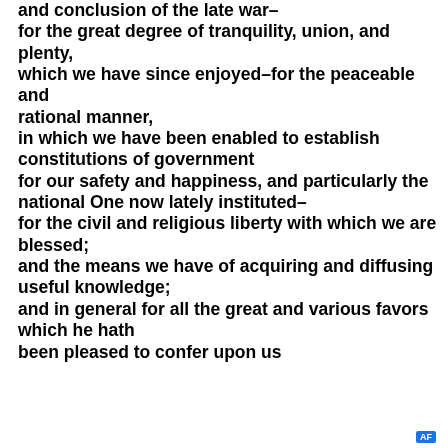and conclusion of the late war–
for the great degree of tranquility, union, and plenty, which we have since enjoyed–for the peaceable and rational manner,
in which we have been enabled to establish constitutions of government
for our safety and happiness, and particularly the national One now lately instituted–
for the civil and religious liberty with which we are blessed;
and the means we have of acquiring and diffusing useful knowledge;
and in general for all the great and various favors which he hath
been pleased to confer upon us